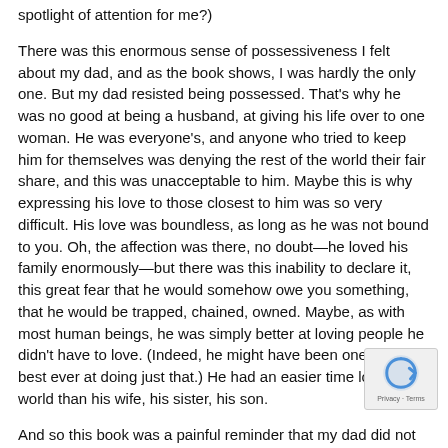spotlight of attention for me?)
There was this enormous sense of possessiveness I felt about my dad, and as the book shows, I was hardly the only one. But my dad resisted being possessed. That's why he was no good at being a husband, at giving his life over to one woman. He was everyone's, and anyone who tried to keep him for themselves was denying the rest of the world their fair share, and this was unacceptable to him. Maybe this is why expressing his love to those closest to him was so very difficult. His love was boundless, as long as he was not bound to you. Oh, the affection was there, no doubt—he loved his family enormously—but there was this inability to declare it, this great fear that he would somehow owe you something, that he would be trapped, chained, owned. Maybe, as with most human beings, he was simply better at loving people he didn't have to love. (Indeed, he might have been one of the best ever at doing just that.) He had an easier time loving the world than his wife, his sister, his son.
And so this book was a painful reminder that my dad did not belong to me or to anyone, and that he never had. The book was a reminder to all of us that he was not anyone's but everyone's; that he was not only the "everyman," but every man's. The book reminded me not only that I lost him—after all, a good biography brings someone back